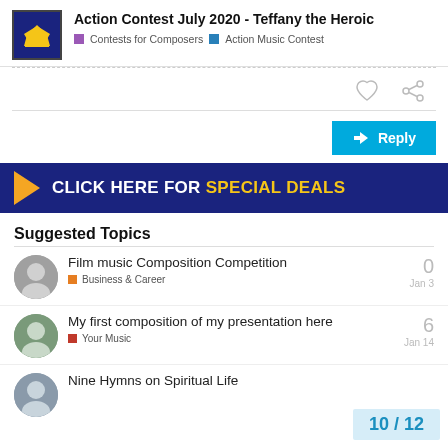Action Contest July 2020 - Teffany the Heroic | Contests for Composers | Action Music Contest
[Figure (screenshot): Like and share action icons (heart and chain link)]
[Figure (other): Blue Reply button with back arrow]
[Figure (other): Advertisement banner: dark blue background with yellow triangle arrow and text CLICK HERE FOR SPECIAL DEALS]
Suggested Topics
Film music Composition Competition
Business & Career
0
Jan 3
My first composition of my presentation here
Your Music
6
Jan 14
Nine Hymns on Spiritual Life
10 / 12